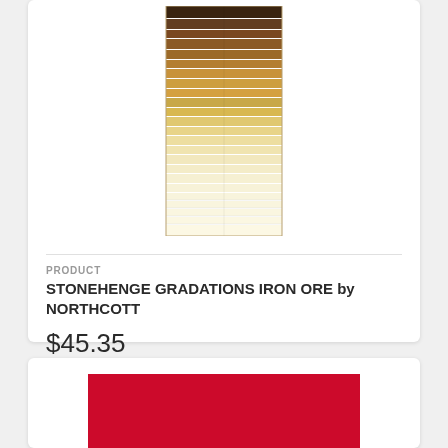[Figure (photo): Fabric swatch strip showing gradations from dark brown/earth tones at top to light cream/beige at bottom, arranged in horizontal strips]
PRODUCT
STONEHENGE GRADATIONS IRON ORE by NORTHCOTT
$45.35
[Figure (photo): Solid red/crimson fabric swatch]